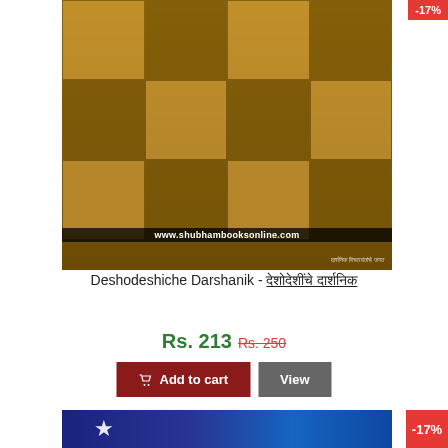[Figure (photo): Book cover of Deshodeshiche Darshanik showing a collage of historical philosophers and thinkers on a golden/sepia background, with website URL www.shubhambooksonline.com overlaid]
Deshodeshiche Darshanik - देशोदेशींचे दार्शनिक
Rs. 213 Rs. 250
Add to cart
View
[Figure (photo): Partial view of another book cover with blue background and star, showing -17% discount badge]
-17%